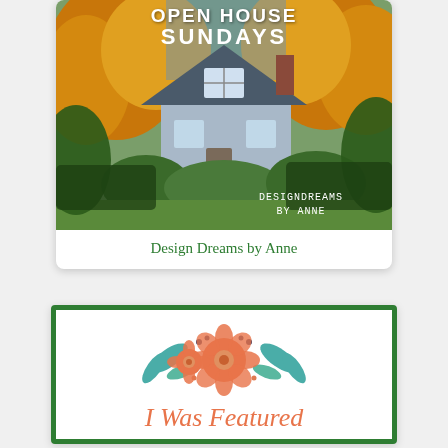[Figure (photo): Open House Sundays banner image showing a gray house with autumn foliage and text 'OPEN HOUSE SUNDAYS' and 'DESIGN DREAMS BY ANNE' overlaid]
Design Dreams by Anne
[Figure (logo): I Was Featured badge with a green border, orange floral illustration, and cursive text 'I Was Featured']